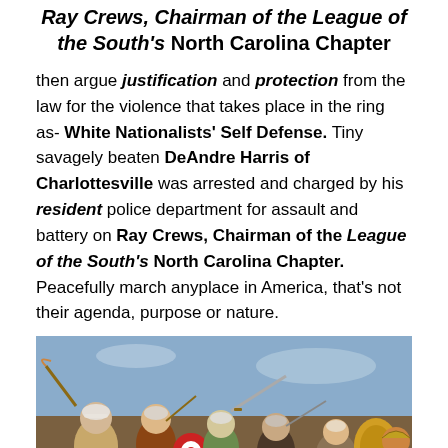Ray Crews, Chairman of the League of the South's North Carolina Chapter
then argue justification and protection from the law for the violence that takes place in the ring as- White Nationalists' Self Defense. Tiny savagely beaten DeAndre Harris of Charlottesville was arrested and charged by his resident police department for assault and battery on Ray Crews, Chairman of the League of the South's North Carolina Chapter. Peacefully march anyplace in America, that's not their agenda, purpose or nature.
[Figure (illustration): Colorful illustrated battle scene depicting ancient or medieval warriors with weapons such as swords, shields, and spears, fighting in a chaotic group melee. The figures have white/grey hair and are dressed in various period clothing.]